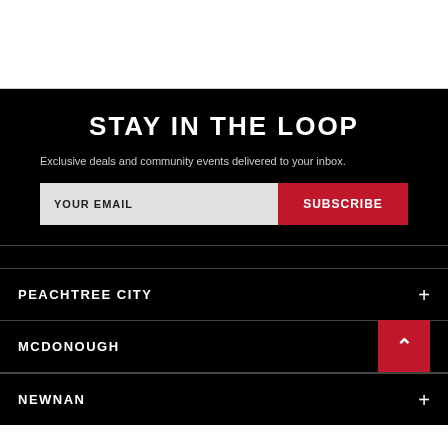[Figure (other): White top banner area]
STAY IN THE LOOP
Exclusive deals and community events delivered to your inbox.
YOUR EMAIL | SUBSCRIBE
PEACHTREE CITY
MCDONOUGH
NEWNAN